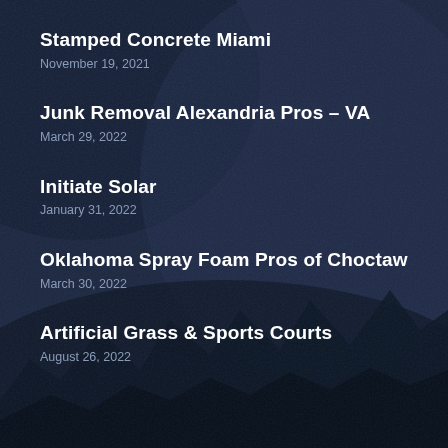Stamped Concrete Miami
November 19, 2021
Junk Removal Alexandria Pros – VA
March 29, 2022
Initiate Solar
January 31, 2022
Oklahoma Spray Foam Pros of Choctaw
March 30, 2022
Artificial Grass & Sports Courts
August 26, 2022